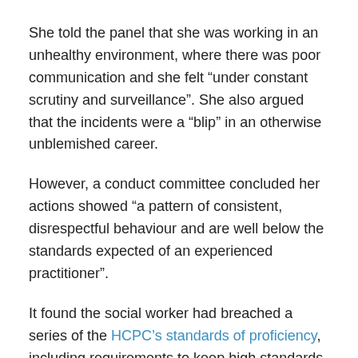She told the panel that she was working in an unhealthy environment, where there was poor communication and she felt “under constant scrutiny and surveillance”. She also argued that the incidents were a “blip” in an otherwise unblemished career.
However, a conduct committee concluded her actions showed “a pattern of consistent, disrespectful behaviour and are well below the standards expected of an experienced practitioner”.
It found the social worker had breached a series of the HCPC’s standards of proficiency, including requirements to keep high standards of personal conduct, practise in a non-discriminatory manner and communicate properly with colleagues.
The failure to record the safeguarding concern was found to be misconduct.